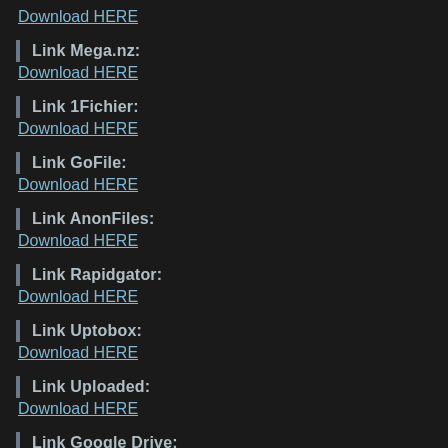Download HERE
Link Mega.nz:
Download HERE
Link 1Fichier:
Download HERE
Link GoFile:
Download HERE
Link AnonFiles:
Download HERE
Link Rapidgator:
Download HERE
Link Uptobox:
Download HERE
Link Uploaded:
Download HERE
Link Google Drive: